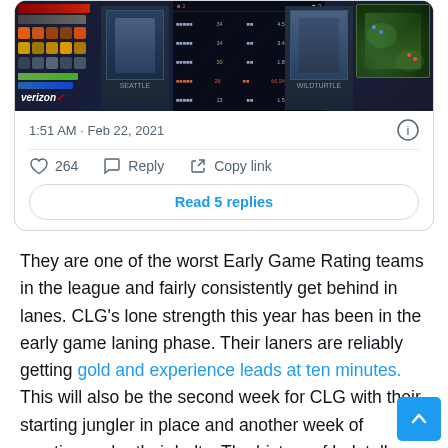[Figure (screenshot): Screenshot of a tweet embed showing a League of Legends esports game stream with scoreboard UI, player portraits, minimap, and Verizon branding. Timestamp: 1:51 AM · Feb 22, 2021. 264 likes. Reply and Copy link actions. Read 5 replies button.]
1:51 AM · Feb 22, 2021
264  Reply  Copy link
Read 5 replies
They are one of the worst Early Game Rating teams in the league and fairly consistently get behind in lanes. CLG's lone strength this year has been in the early game laning phase. Their laners are reliably getting gold and experience leads at ten minutes. This will also be the second week for CLG with their starting jungler in place and another week of practice under their belts. The history of LoL tells us it usually takes a couple of weeks for teams to put it together with a new player and I would expect CLG to be much improved this week. Couple that with the fact that the implied odds of this bet only